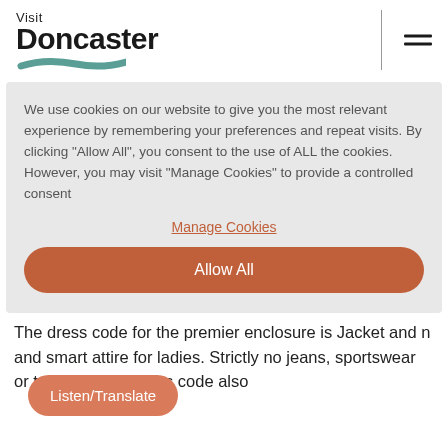[Figure (logo): Visit Doncaster logo with teal swoosh underline]
We use cookies on our website to give you the most relevant experience by remembering your preferences and repeat visits. By clicking "Allow All", you consent to the use of ALL the cookies. However, you may visit "Manage Cookies" to provide a controlled consent
Manage Cookies
Allow All
The dress code for the premier enclosure is Jacket and n and smart attire for ladies. Strictly no jeans, sportswear or trainers. This dress code also
Listen/Translate